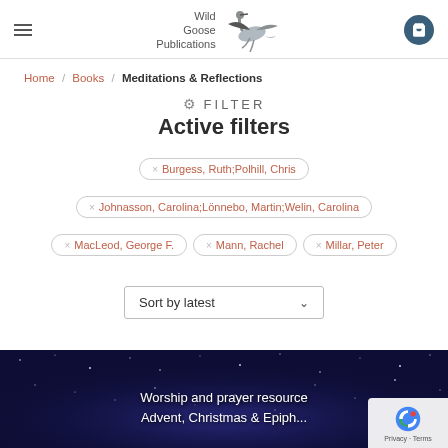[Figure (logo): Wild Goose Publications logo with flying goose bird illustration and text]
Home / Books / Meditations & Reflections
≡ FILTER
Active filters
x Burgess, Ruth;Polhill, Chris
x Johnasson, Carolina;Lönnebo, Martin;Welin, Carolina
x MacLeod, George F.
x Mann, Rachel
x Millar, Peter
Sort by latest
[Figure (photo): Dark starry night sky background with text: Worship and prayer resource Advent, Christmas & Epiph...]